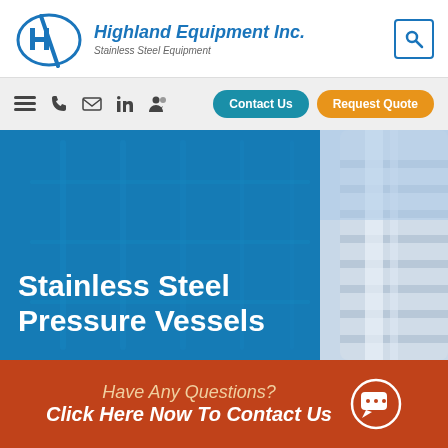Highland Equipment Inc. — Stainless Steel Equipment
[Figure (screenshot): Website screenshot showing Highland Equipment Inc. header with logo, navigation bar with icons and Contact Us and Request Quote buttons, a hero banner with stainless steel pressure vessel imagery and title 'Stainless Steel Pressure Vessels', and a rust-colored CTA bar reading 'Have Any Questions? Click Here Now To Contact Us']
Stainless Steel Pressure Vessels
Have Any Questions?
Click Here Now To Contact Us